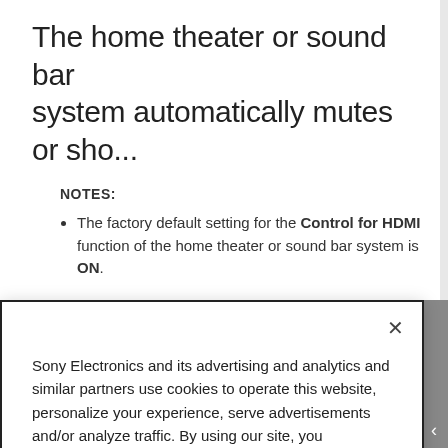The home theater or sound bar system automatically mutes or sho...
NOTES:
The factory default setting for the Control for HDMI function of the home theater or sound bar system is ON.
The home theater or sound bar system retains the
Sony Electronics and its advertising and analytics and similar partners use cookies to operate this website, personalize your experience, serve advertisements and/or analyze traffic. By using our site, you acknowledge this notice and agree to the use of cookies on our site and to our Privacy Policy.
Manage Cookies